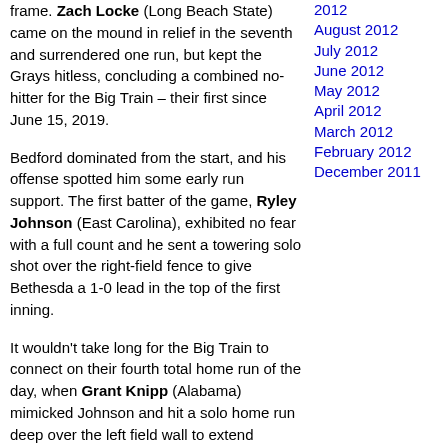frame. Zach Locke (Long Beach State) came on the mound in relief in the seventh and surrendered one run, but kept the Grays hitless, concluding a combined no-hitter for the Big Train – their first since June 15, 2019.
Bedford dominated from the start, and his offense spotted him some early run support. The first batter of the game, Ryley Johnson (East Carolina), exhibited no fear with a full count and he sent a towering solo shot over the right-field fence to give Bethesda a 1-0 lead in the top of the first inning.
It wouldn't take long for the Big Train to connect on their fourth total home run of the day, when Grant Knipp (Alabama) mimicked Johnson and hit a solo home run deep over the left field wall to extend Bethesda's run advantage to two in the top of the second.
Bethesda wasn't finished overpowering the Grays' starter in the same inning, however. With runners on second and third, Keith Torres (Sacramento State) hit a single to drive home Darius Foster (San Francisco). Soon after, Danny Neri (Notre Dame) scored from third on a balk to push the score to 4-0. Austin Gauthier (Maryland) rounded out the Big Train's four-run inning with an RBI double into the left field gap to firmly put his
2012
August 2012
July 2012
June 2012
May 2012
April 2012
March 2012
February 2012
December 2011